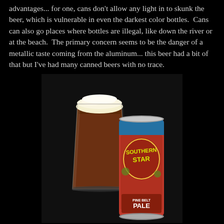advantages... for one, cans don't allow any light in to skunk the beer, which is vulnerable in even the darkest color bottles. Cans can also go places where bottles are illegal, like down the river or at the beach. The primary concern seems to be the danger of a metallic taste coming from the aluminum... this beer had a bit of that but I've had many canned beers with no trace.
[Figure (photo): A glass of dark amber beer with a white foam head next to a Southern Star Pine Belt Pale Ale can against a dark/black textured background.]